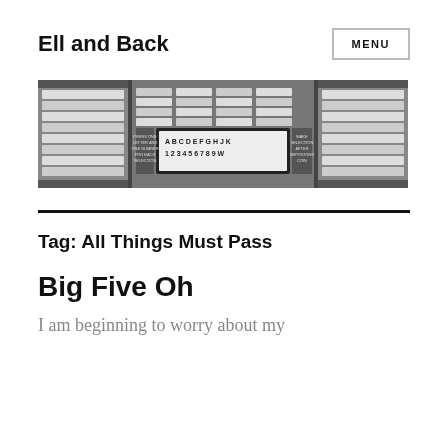Ell and Back
[Figure (screenshot): Black and white photograph of a jukebox selection panel showing song title cards arranged in rows with letter (A-K) and number (1-9, W) selector buttons in the center]
Tag: All Things Must Pass
Big Five Oh
I am beginning to worry about my